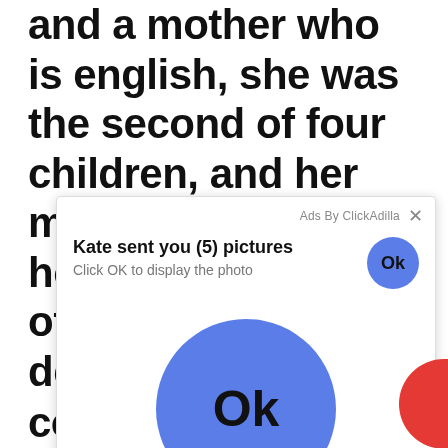and a mother who is english, she was the second of four children, and her mother was a homemaker. She is of mostly irish descent.
[Figure (screenshot): Ad overlay popup from ClickAdilla. Shows 'Kate sent you (5) pictures' with 'Click OK to display the photo' subtitle, a small blue 'Ok' button top right, and a large blue 'Ok' circle button in the center. A partial red circle is on the right edge.]
cotillard, shannon